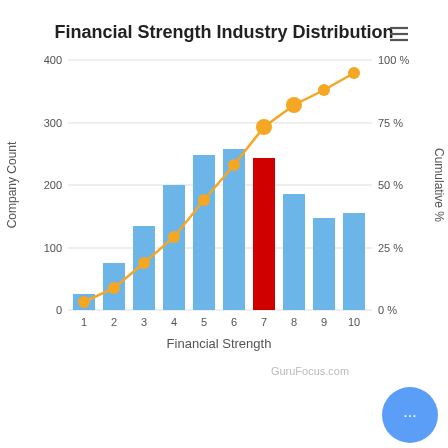[Figure (bar-chart): Financial Strength Industry Distribution]
GuruFocus.com